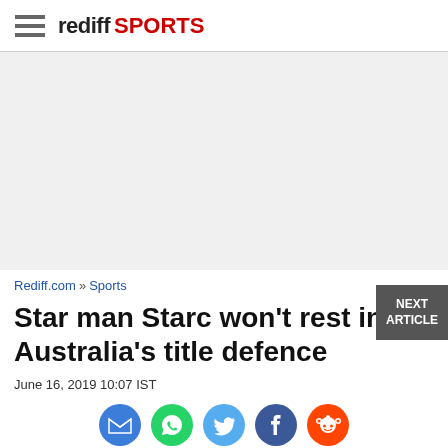rediff SPORTS
[Figure (other): Advertisement placeholder area, light gray background]
Rediff.com » Sports
Star man Starc won't rest in Australia's title defence
June 16, 2019 10:07 IST
[Figure (other): Social share icons: email (blue), WhatsApp (green), Twitter (light blue), Facebook (blue), Reddit (orange-red)]